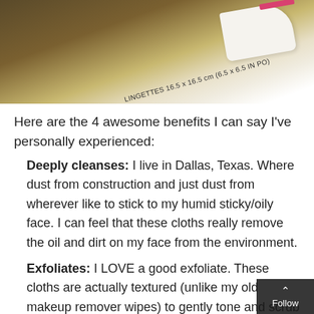[Figure (photo): Photo of a skincare lingettes/wipes product packaging with a white cloth, showing text '16.5 x 16.5 cm (6.5 x 6.5 IN PO)' on the label, on a brown surface.]
Here are the 4 awesome benefits I can say I've personally experienced:
Deeply cleanses: I live in Dallas, Texas. Where dust from construction and just dust from wherever like to stick to my humid sticky/oily face. I can feel that these cloths really remove the oil and dirt on my face from the environment.
Exfoliates: I LOVE a good exfoliate. These cloths are actually textured (unlike my old makeup remover wipes) to gently tone and scrub my face making it feel smoother than ever.